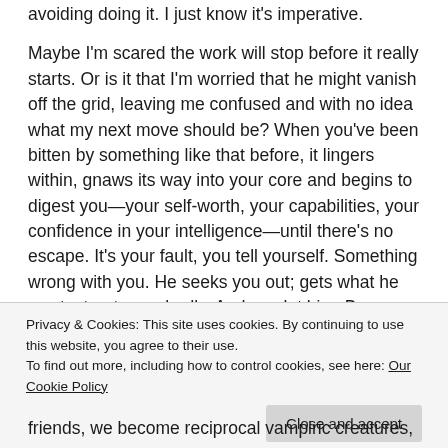avoiding doing it. I just know it's imperative.
Maybe I'm scared the work will stop before it really starts. Or is it that I'm worried that he might vanish off the grid, leaving me confused and with no idea what my next move should be? When you've been bitten by something like that before, it lingers within, gnaws its way into your core and begins to digest you—your self-worth, your capabilities, your confidence in your intelligence—until there's no escape. It's your fault, you tell yourself. Something wrong with you. He seeks you out; gets what he wants; treats you badly. And you let him. Because—
Privacy & Cookies: This site uses cookies. By continuing to use this website, you agree to their use.
To find out more, including how to control cookies, see here: Our Cookie Policy
Close and accept
friends, we become reciprocal vampiric creatures,